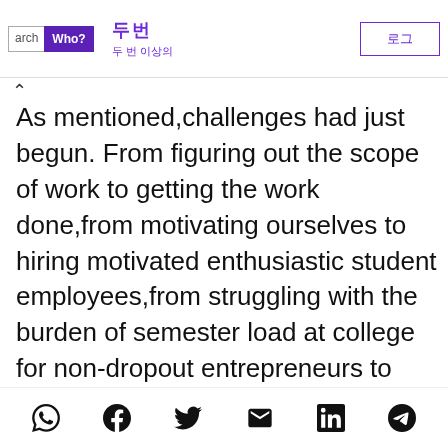arch | Who? | [Korean characters] | [Korean sub-text] | [Korean button]
As mentioned,challenges had just begun. From figuring out the scope of work to getting the work done,from motivating ourselves to hiring motivated enthusiastic student employees,from struggling with the burden of semester load at college for non-dropout entrepreneurs to getting almost succumbed under the aspirations of an overpromised client,all of it had just begun and had begun too well. The ball kept rolling,we kept moving,TechBuddy started growing,is still growing
[social icons: WhatsApp, Facebook, Twitter, Email, LinkedIn, Telegram]